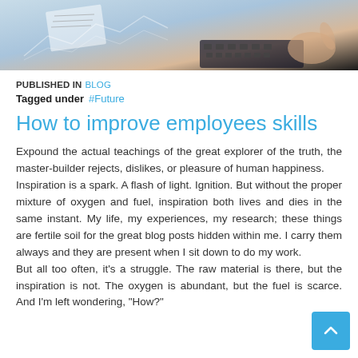[Figure (photo): Hero image showing a desk scene with papers, charts, a keyboard, and hands working, in blue and warm tones]
PUBLISHED IN  BLOG
Tagged under  #Future
How to improve employees skills
Expound the actual teachings of the great explorer of the truth, the master-builder rejects, dislikes, or pleasure of human happiness.
Inspiration is a spark. A flash of light. Ignition. But without the proper mixture of oxygen and fuel, inspiration both lives and dies in the same instant. My life, my experiences, my research; these things are fertile soil for the great blog posts hidden within me. I carry them always and they are present when I sit down to do my work.
But all too often, it’s a struggle. The raw material is there, but the inspiration is not. The oxygen is abundant, but the fuel is scarce. And I’m left wondering, “How?”